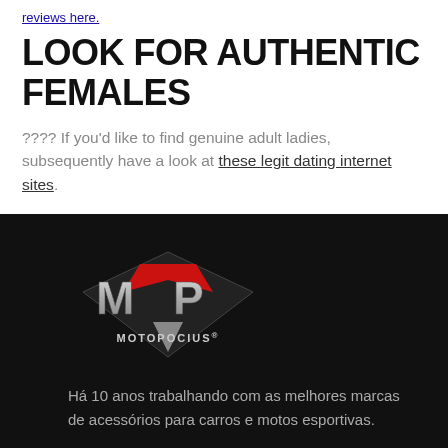reviews here.
LOOK FOR AUTHENTIC FEMALES
???? If you'd like to find genuine adult ladies, subsequently have a look at these legit dating internet sites.
[Figure (logo): MP Motopocius logo — stylized silver and red MP letters above the MOTOPOCIUS® wordmark on a black background]
Há 10 anos trabalhando com as melhores marcas de acessórios para carros e motos esportivas.